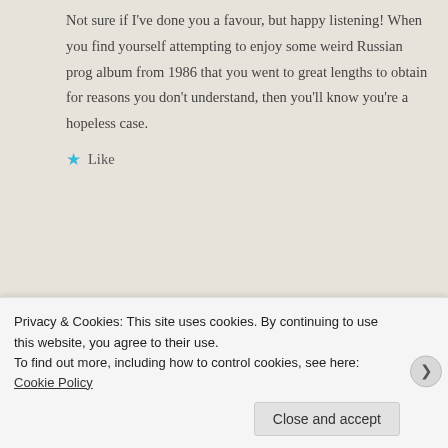Not sure if I've done you a favour, but happy listening! When you find yourself attempting to enjoy some weird Russian prog album from 1986 that you went to great lengths to obtain for reasons you don't understand, then you'll know you're a hopeless case.
★ Like
SndChaser  August 14, 2014 at 6:30 pm
Oh, I'm already a long lost, hopeless case. First thing I did when I moved here was to find all the used record shops. Second thing I did was start
Privacy & Cookies: This site uses cookies. By continuing to use this website, you agree to their use.
To find out more, including how to control cookies, see here: Cookie Policy
Close and accept